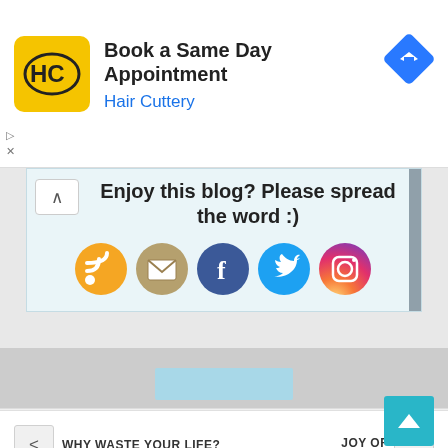[Figure (screenshot): Advertisement banner for Hair Cuttery: Book a Same Day Appointment. Shows HC logo, title, blue subtitle, and navigation arrow icon.]
Enjoy this blog? Please spread the word :)
[Figure (infographic): Social sharing icons: RSS (orange), Email (tan/gold), Facebook (blue), Twitter (light blue), Instagram (purple/pink gradient)]
WHY WASTE YOUR LIFE?
JOY OF ACCOMPLISHMENT